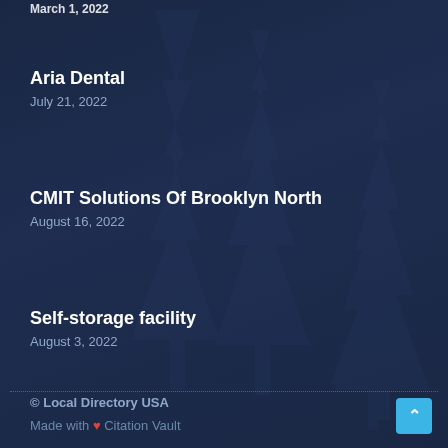March 1, 2022
Aria Dental
July 21, 2022
CMIT Solutions Of Brooklyn North
August 16, 2022
Self-storage facility
August 3, 2022
© Local Directory USA
Made with ❤ Citation Vault